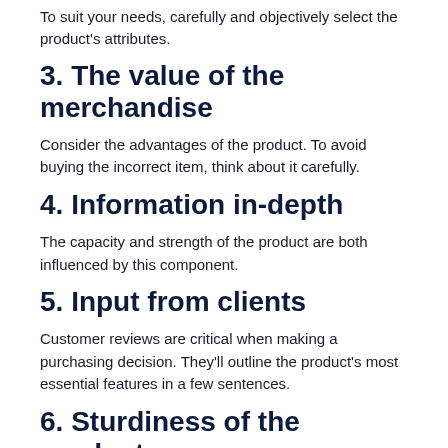To suit your needs, carefully and objectively select the product's attributes.
3. The value of the merchandise
Consider the advantages of the product. To avoid buying the incorrect item, think about it carefully.
4. Information in-depth
The capacity and strength of the product are both influenced by this component.
5. Input from clients
Customer reviews are critical when making a purchasing decision. They'll outline the product's most essential features in a few sentences.
6. Sturdiness of the product